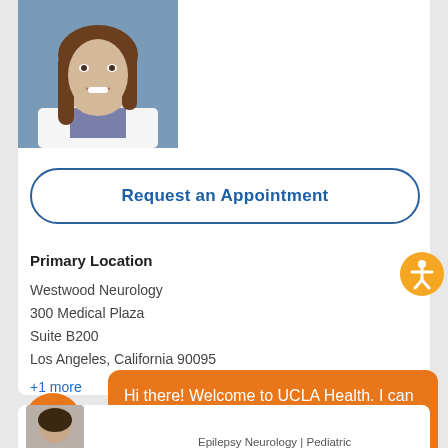[Figure (photo): Doctor in white coat with long brown hair, smiling, blue background — partial view showing face and upper chest]
Request an Appointment
Primary Location
Westwood Neurology
300 Medical Plaza
Suite B200
Los Angeles, California 90095
+1 more
[Figure (illustration): Orange circle accessibility icon with white person/wheelchair symbol]
Hi there! Welcome to UCLA Health. I can help answer your questions and get you started.
[Figure (photo): Partial photo of another doctor at bottom of page]
Epilepsy Neurology | Pediatric